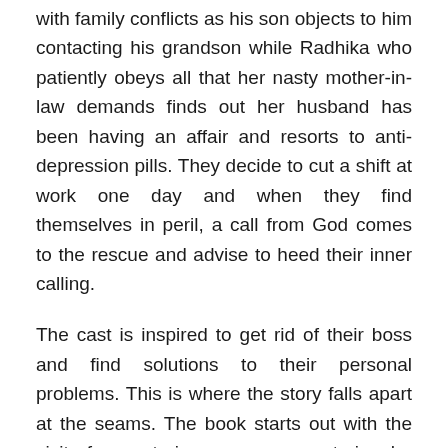with family conflicts as his son objects to him contacting his grandson while Radhika who patiently obeys all that her nasty mother-in-law demands finds out her husband has been having an affair and resorts to anti-depression pills. They decide to cut a shift at work one day and when they find themselves in peril, a call from God comes to the rescue and advise to heed their inner calling.
The cast is inspired to get rid of their boss and find solutions to their personal problems. This is where the story falls apart at the seams. The book starts out with the visit of a mysterious woman on a train who boards the carriage of the author and then before telling the story demands that her story is the next book he writes who is nowhere to be found after he falls asleep. Then as the book ends with the author asking who she is in the story's